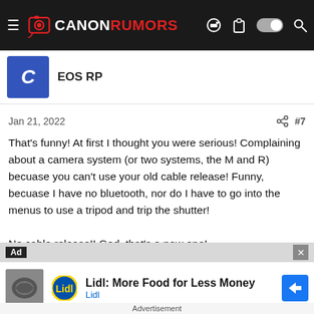CANONRUMORS
EOS RP
Jan 21, 2022   #7
That's funny! At first I thought you were serious! Complaining about a camera system (or two systems, the M and R) becuase you can't use your old cable release! Funny, becuase I have no bluetooth, nor do I have to go into the menus to use a tripod and trip the shutter!

No cable release!! God, that's a new one!
1 user
[Figure (screenshot): Advertisement banner showing Lidl: More Food for Less Money ad with Lidl logo and navigation arrow icon]